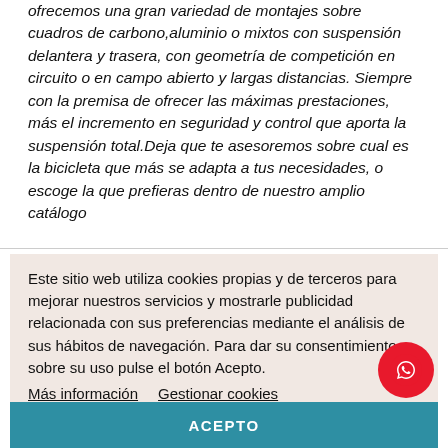ofrecemos una gran variedad de montajes sobre cuadros de carbono,aluminio o mixtos con suspensión delantera y trasera, con geometría de competición en circuito o en campo abierto y largas distancias. Siempre con la premisa de ofrecer las máximas prestaciones, más el incremento en seguridad y control que aporta la suspensión total.Deja que te asesoremos sobre cual es la bicicleta que más se adapta a tus necesidades, o escoge la que prefieras dentro de nuestro amplio catálogo
Este sitio web utiliza cookies propias y de terceros para mejorar nuestros servicios y mostrarle publicidad relacionada con sus preferencias mediante el análisis de sus hábitos de navegación. Para dar su consentimiento sobre su uso pulse el botón Acepto. Más información   Gestionar cookies
ACEPTO